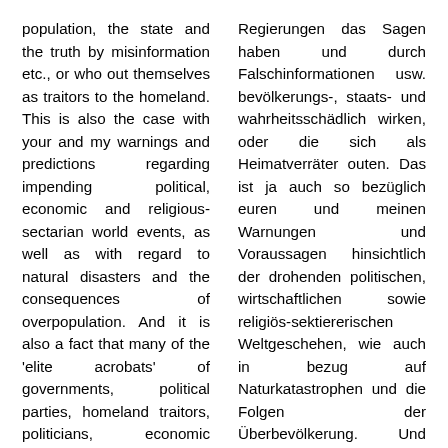population, the state and the truth by misinformation etc., or who out themselves as traitors to the homeland. This is also the case with your and my warnings and predictions regarding impending political, economic and religious-sectarian world events, as well as with regard to natural disasters and the consequences of overpopulation. And it is also a fact that many of the 'elite acrobats' of governments, political parties, homeland traitors, politicians, economic magnates and powerful
Regierungen das Sagen haben und durch Falschinformationen usw. bevölkerungs-, staats- und wahrheitsschädlich wirken, oder die sich als Heimatverräter outen. Das ist ja auch so bezüglich euren und meinen Warnungen und Voraussagen hinsichtlich der drohenden politischen, wirtschaftlichen sowie religiös-sektiererischen Weltgeschehen, wie auch in bezug auf Naturkatastrophen und die Folgen der Überbevölkerung. Und Tatsache ist dabei auch,